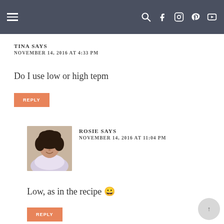Navigation bar with menu, search, Facebook, Instagram, Pinterest, YouTube icons
TINA SAYS
NOVEMBER 14, 2016 AT 4:33 PM
Do I use low or high tepm
REPLY
[Figure (photo): Avatar photo of Rosie, a woman with curly hair]
ROSIE SAYS
NOVEMBER 14, 2016 AT 11:04 PM
Low, as in the recipe 😀
REPLY